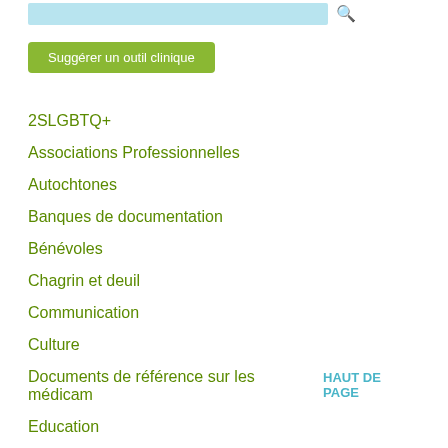[Figure (other): Search input field with light blue background and a teal search/magnifier icon to the right]
Suggérer un outil clinique
2SLGBTQ+
Associations Professionnelles
Autochtones
Banques de documentation
Bénévoles
Chagrin et deuil
Communication
Culture
Documents de référence sur les médicaments
HAUT DE PAGE
Education